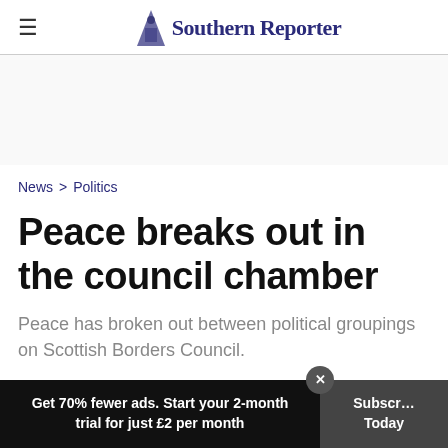Southern Reporter
News > Politics
Peace breaks out in the council chamber
Peace has broken out between political groupings on Scottish Borders Council.
Get 70% fewer ads. Start your 2-month trial for just £2 per month